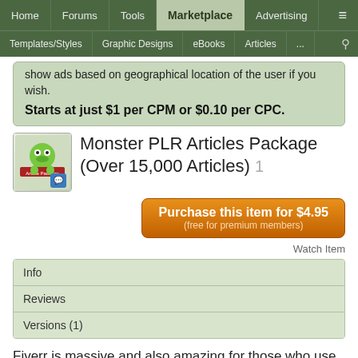Home | Forums | Tools | Marketplace | Advertising | ≡ | Templates/Styles | Graphic Designs | eBooks | Articles | ...
show ads based on geographical location of the user if you wish.
Starts at just $1 per CPM or $0.10 per CPC.
Monster PLR Articles Package (Over 15,000 Articles) 1
[Figure (other): Product thumbnail image for Monster PLR Articles Package with small chat badge overlay]
Purchase this item for $4.95 (free for premium members)
Watch Item
Info
Reviews
Versions (1)
Fiverr is massive and also amazing for those who use it correctly. Firstly, for those of you who haven't heard of it – the principle is this...